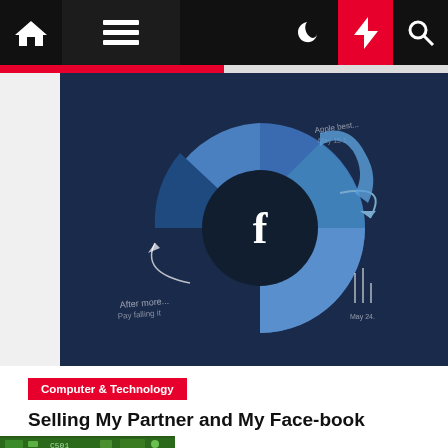Navigation bar with home, menu, moon, lightning, search icons
[Figure (illustration): Dark navy blue donut/pie chart infographic with Facebook 'f' logo in center circle, blue segments of varying shades, arrow annotation, and handwritten-style text labels]
Computer & Technology
Selling My Partner and My Face-book Shares
lita  2 years ago
[Figure (photo): Partial bottom image strip showing green circuit board with component labeled C501]